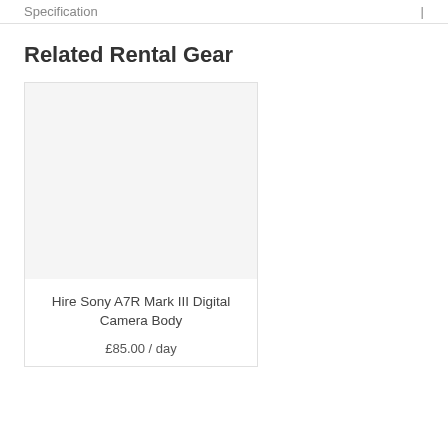Specification | 1
Related Rental Gear
[Figure (photo): Product image placeholder for Sony A7R Mark III Digital Camera Body — light grey background rectangle]
Hire Sony A7R Mark III Digital Camera Body
£85.00 / day